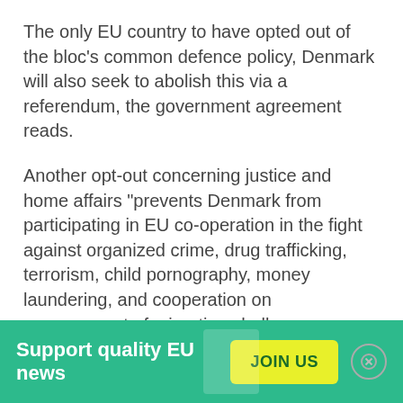The only EU country to have opted out of the bloc's common defence policy, Denmark will also seek to abolish this via a referendum, the government agreement reads.
Another opt-out concerning justice and home affairs "prevents Denmark from participating in EU co-operation in the fight against organized crime, drug trafficking, terrorism, child pornography, money laundering, and cooperation on management of migration challenges, including illegal immigration and protection of trafficked women." The new government will seek to change this via a referendum so that the
Support quality EU news
JOIN US